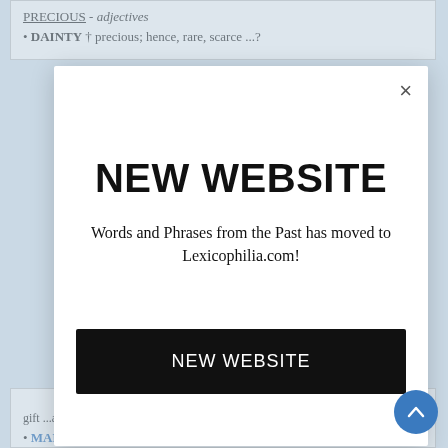PRECIOUS - adjectives
DAINTY † precious; hence, rare, scarce ...?
NEW WEBSITE
Words and Phrases from the Past has moved to Lexicophilia.com!
NEW WEBSITE
MARGARITE something precious ...a1450